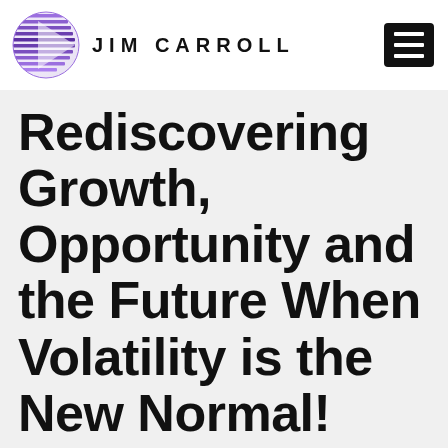JIM CARROLL
Rediscovering Growth, Opportunity and the Future When Volatility is the New Normal!